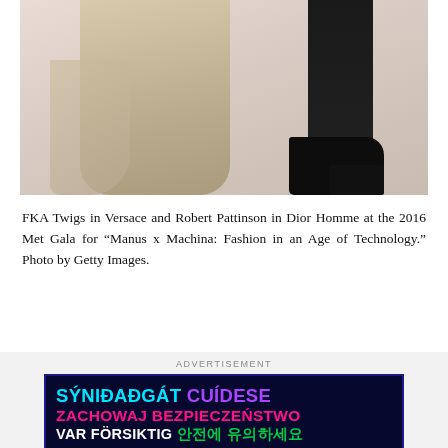[Figure (photo): A cropped photo showing the lower bodies of two people: on the left, a person wearing a flowing champagne/nude Versace gown; on the right, a person in black Dior Homme trousers and black leather dress shoes, standing on a pink carpet.]
FKA Twigs in Versace and Robert Pattinson in Dior Homme at the 2016 Met Gala for “Manus x Machina: Fashion in an Age of Technology.” Photo by Getty Images.
ADVERTISEMENT
[Figure (infographic): An advertisement banner with dark navy background displaying multilingual safety messages: 'SÝNIÐAÐGÁT CUÍDESE' in cyan and purple, 'ZACHOWAJ BEZPIECZEŃSTWO' in pink/magenta, 'VAR FÖRSIKTIG 안전에 유의하세요' in white and green.]